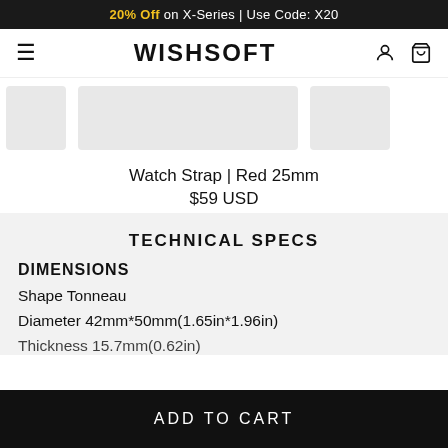20% Off on X-Series | Use Code: X20
WISHSOFT
[Figure (screenshot): Horizontal carousel of product thumbnail images for watch straps]
Watch Strap | Red 25mm
$59 USD
TECHNICAL SPECS
DIMENSIONS
Shape Tonneau
Diameter 42mm*50mm(1.65in*1.96in)
Thickness 15.7mm(0.62in)